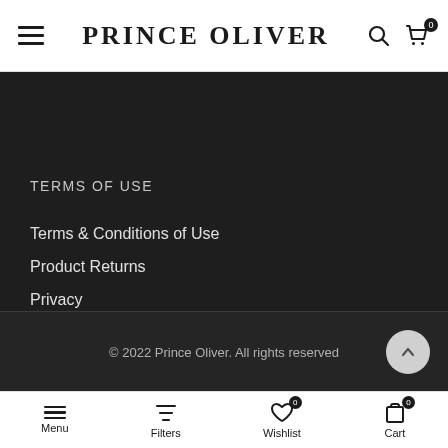PRINCE OLIVER
TERMS OF USE
Terms & Conditions of Use
Product Returns
Privacy
Cookies
© 2022 Prince Oliver. All rights reserved
Menu  Filters  Wishlist  Cart